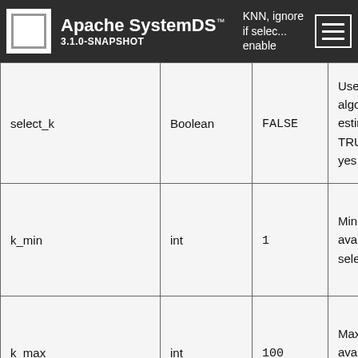Apache SystemDS™ 3.1.0-SNAPSHOT
| Name | Type | Default | Description |
| --- | --- | --- | --- |
| select_k | Boolean | FALSE | Use k selection algorithm to estimate k ( TRUE means yes ) |
| k_min | int | 1 | Min k value( available if select_k = 1 ) |
| k_max | int | 100 | Max k value( available if select_k = 1 ) |